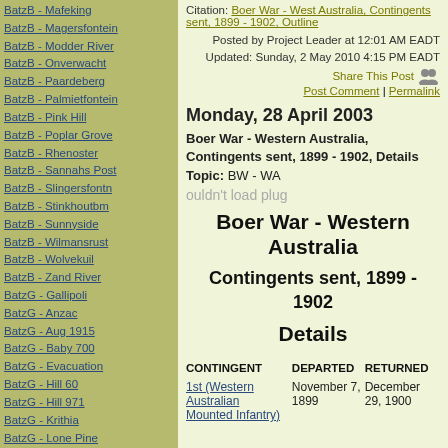BatzB - Mafeking
BatzB - Magersfontein
BatzB - Modder River
BatzB - Onverwacht
BatzB - Paardeberg
BatzB - Palmietfontein
BatzB - Pink Hill
BatzB - Poplar Grove
BatzB - Rhenoster
BatzB - Sannahs Post
BatzB - Slingersfontn
BatzB - Stinkhoutbm
BatzB - Sunnyside
BatzB - Wilmansrust
BatzB - Wolvekuil
BatzB - Zand River
BatzG - Gallipoli
BatzG - Anzac
BatzG - Aug 1915
BatzG - Baby 700
BatzG - Evacuation
BatzG - Hill 60
BatzG - Hill 971
BatzG - Krithia
BatzG - Lone Pine
BatzG - Nek
BatzJ - Jordan Valley
BatzJ - 1st Amman
Citation: Boer War - West Australia, Contingents sent, 1899 - 1902, Outline
Posted by Project Leader at 12:01 AM EADT
Updated: Sunday, 2 May 2010 4:15 PM EADT
Share This Post
Post Comment | Permalink
Monday, 28 April 2003
Boer War - Western Australia, Contingents sent, 1899 - 1902, Details
Topic: BW - WA
ouldn't load plug
Boer War - Western Australia
Contingents sent, 1899 - 1902
Details
| CONTINGENT | DEPARTED | RETURNED |
| --- | --- | --- |
| 1st (Western Australian Mounted Infantry) | November 7, 1899 | December 29, 1900 |